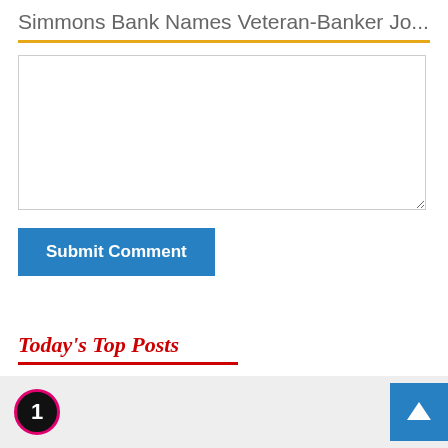Simmons Bank Names Veteran-Banker Jo...
[Comment textarea input area]
Submit Comment
Today's Top Posts
1